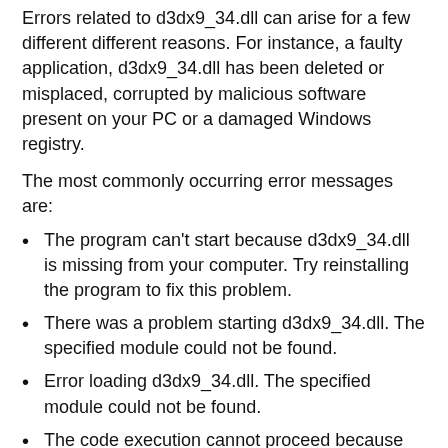Errors related to d3dx9_34.dll can arise for a few different different reasons. For instance, a faulty application, d3dx9_34.dll has been deleted or misplaced, corrupted by malicious software present on your PC or a damaged Windows registry.
The most commonly occurring error messages are:
The program can't start because d3dx9_34.dll is missing from your computer. Try reinstalling the program to fix this problem.
There was a problem starting d3dx9_34.dll. The specified module could not be found.
Error loading d3dx9_34.dll. The specified module could not be found.
The code execution cannot proceed because d3dx9_34.dll was not found. Reinstalling the program may fix this problem.
d3dx9_34.dll is either not designed to run on Windows or it contains an error. Try installing the program again using the original installation media or contact your system administrator or the software vender for support.